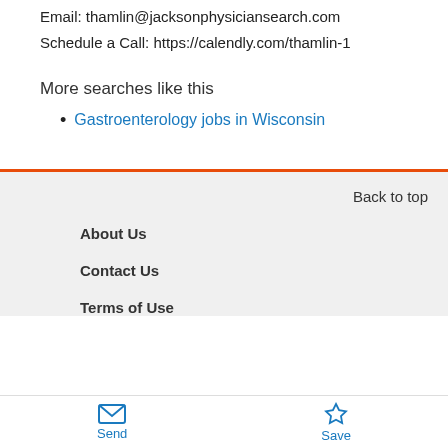Email: thamlin@jacksonphysiciansearch.com
Schedule a Call: https://calendly.com/thamlin-1
More searches like this
Gastroenterology jobs in Wisconsin
Back to top
About Us
Contact Us
Terms of Use
Send   Save